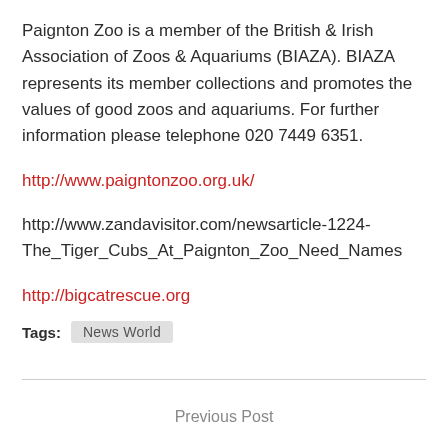Paignton Zoo is a member of the British & Irish Association of Zoos & Aquariums (BIAZA). BIAZA represents its member collections and promotes the values of good zoos and aquariums. For further information please telephone 020 7449 6351.
http://www.paigntonzoo.org.uk/
http://www.zandavisitor.com/newsarticle-1224-The_Tiger_Cubs_At_Paignton_Zoo_Need_Names
http://bigcatrescue.org
Tags: News World
Previous Post